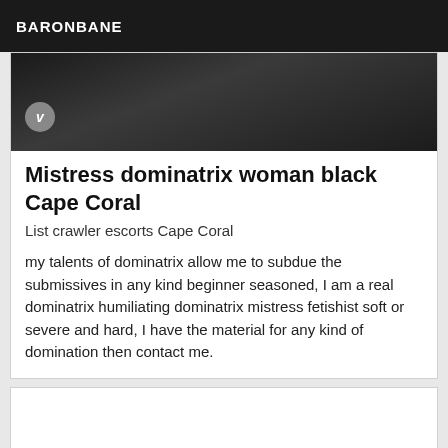BARONBANE
[Figure (photo): Dark image showing black leather or rubber fetish accessories/straps against a white background, with a Vimeo badge visible in lower left]
Mistress dominatrix woman black Cape Coral
List crawler escorts Cape Coral
my talents of dominatrix allow me to subdue the submissives in any kind beginner seasoned, I am a real dominatrix humiliating dominatrix mistress fetishist soft or severe and hard, I have the material for any kind of domination then contact me.